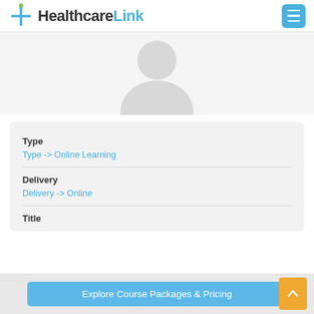[Figure (logo): HealthcareLink logo with cross icon and hamburger menu button]
[Figure (illustration): Generic user profile avatar silhouette (head and shoulders) in light grey]
Type
Type -> Online Learning
Delivery
Delivery -> Online
Title
Explore Course Packages & Pricing